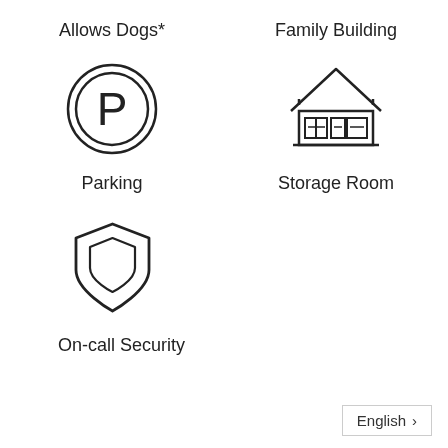Allows Dogs*
Family Building
[Figure (illustration): Parking icon: letter P inside a double circle]
[Figure (illustration): Storage room icon: warehouse/garage building with boxes inside]
Parking
Storage Room
[Figure (illustration): Security shield icon with inner shield cutout]
On-call Security
English >